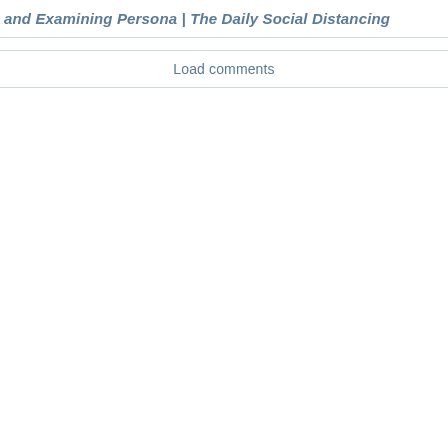and Examining Persona | The Daily Social Distancing
Load comments